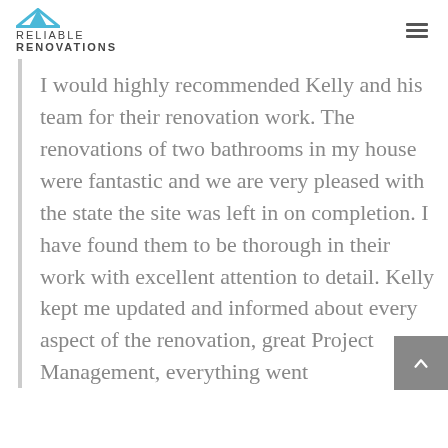RELIABLE RENOVATIONS
I would highly recommended Kelly and his team for their renovation work. The renovations of two bathrooms in my house were fantastic and we are very pleased with the state the site was left in on completion. I have found them to be thorough in their work with excellent attention to detail. Kelly kept me updated and informed about every aspect of the renovation, great Project Management, everything went